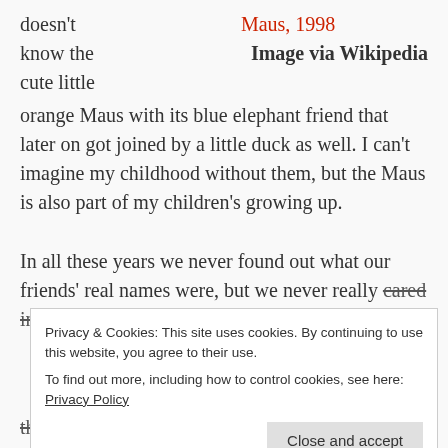doesn't know the cute little orange Maus with its blue elephant friend that later on got joined by a little duck as well. I can't imagine my childhood without them, but the Maus is also part of my children's growing up.
Maus, 1998
Image via Wikipedia
In all these years we never found out what our friends' real names were, but we never really cared in the first place. We just loved and still
Privacy & Cookies: This site uses cookies. By continuing to use this website, you agree to their use. To find out more, including how to control cookies, see here: Privacy Policy
thinking of. Maus, big eyes. The Maus was and